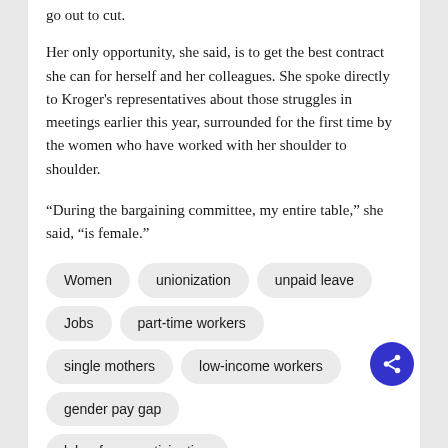go out to cut.
Her only opportunity, she said, is to get the best contract she can for herself and her colleagues. She spoke directly to Kroger’s representatives about those struggles in meetings earlier this year, surrounded for the first time by the women who have worked with her shoulder to shoulder.
“During the bargaining committee, my entire table,” she said, “is female.”
Women
unionization
unpaid leave
Jobs
part-time workers
single mothers
low-income workers
gender pay gap
labor force participation
workplace equity
Kroger
Strikes